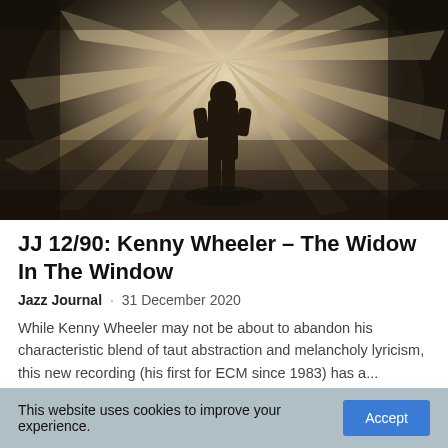[Figure (photo): Atmospheric black and white photograph showing a silhouette of a person standing in a corridor or tunnel with dramatic light rays spreading outward around them, creating a moody, shadowy effect.]
JJ 12/90: Kenny Wheeler – The Widow In The Window
Jazz Journal · 31 December 2020
While Kenny Wheeler may not be about to abandon his characteristic blend of taut abstraction and melancholy lyricism, this new recording (his first for ECM since 1983) has a...
This website uses cookies to improve your experience.